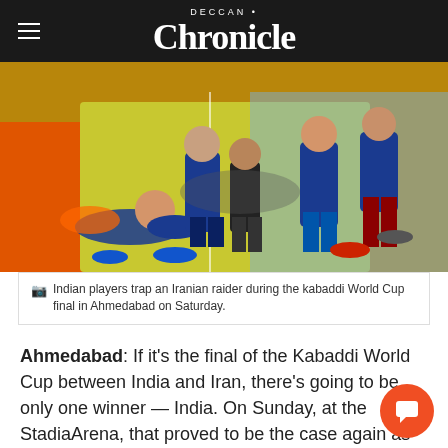DECCAN Chronicle
[Figure (photo): Indian players trap an Iranian raider during the kabaddi World Cup final in Ahmedabad on Saturday. Players wearing blue jerseys grappling with a player in dark shorts on a colorful court.]
Indian players trap an Iranian raider during the kabaddi World Cup final in Ahmedabad on Saturday.
Ahmedabad: If it's the final of the Kabaddi World Cup between India and Iran, there's going to be only one winner — India. On Sunday, at the StadiaArena, that proved to be the case again as India found their colossus in 'Super' Raider Ajay Thakur who was instrumental in the hosts retaining the trophy by a convincing margin of 38-29.